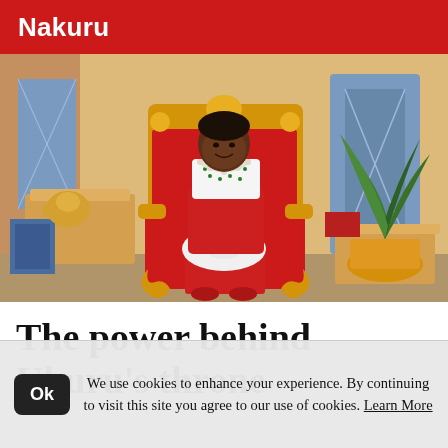Nakuru
[Figure (illustration): Digital illustration of an elderly woman seated on a grand golden and red throne/armchair, wearing a white blouse with a red skirt and white gloves, with a crown/tiara, pearl necklace, seated in a decorated room with a plant, red carpet, and various furniture items in background.]
The power behind Uhuru's throne
We use cookies to enhance your experience. By continuing to visit this site you agree to our use of cookies. Learn More